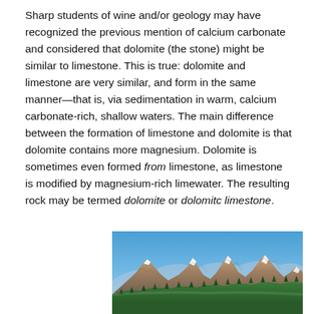Sharp students of wine and/or geology may have recognized the previous mention of calcium carbonate and considered that dolomite (the stone) might be similar to limestone. This is true: dolomite and limestone are very similar, and form in the same manner—that is, via sedimentation in warm, calcium carbonate-rich, shallow waters. The main difference between the formation of limestone and dolomite is that dolomite contains more magnesium. Dolomite is sometimes even formed from limestone, as limestone is modified by magnesium-rich limewater. The resulting rock may be termed dolomite or dolomitc limestone.
[Figure (photo): Photograph of jagged mountain peaks (the Dolomites) with forested slopes in the foreground and a bright blue sky above. Snow patches visible on the rocky summits.]